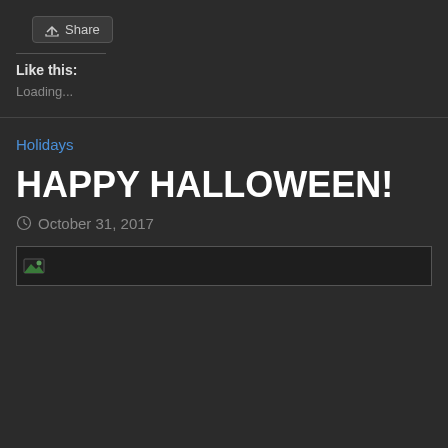[Figure (screenshot): Share button with upload/share icon]
Like this:
Loading...
Holidays
HAPPY HALLOWEEN!
October 31, 2017
[Figure (photo): Broken image placeholder with green/blue icon]